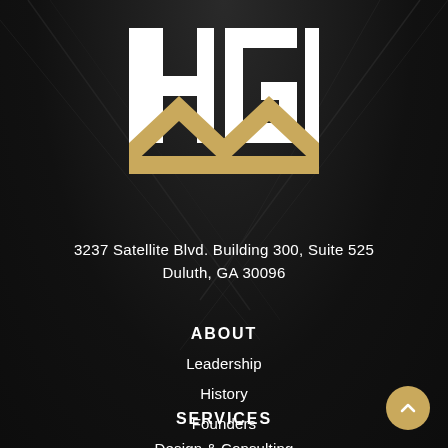[Figure (logo): HGI company logo with bold white letters H, G, I and a gold/tan geometric roof/mountain shape beneath the letters]
3237 Satellite Blvd. Building 300, Suite 525
Duluth, GA 30096
ABOUT
Leadership
History
Founders
SERVICES
Design & Consulting
Loss Investigation